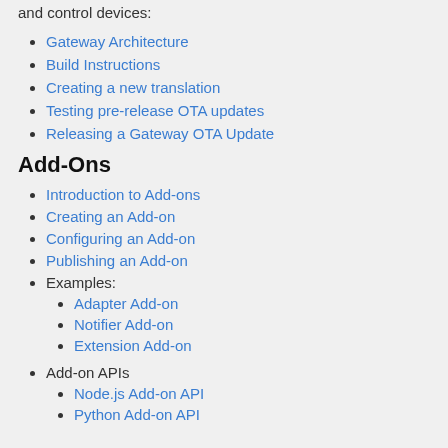and control devices:
Gateway Architecture
Build Instructions
Creating a new translation
Testing pre-release OTA updates
Releasing a Gateway OTA Update
Add-Ons
Introduction to Add-ons
Creating an Add-on
Configuring an Add-on
Publishing an Add-on
Examples:
Adapter Add-on
Notifier Add-on
Extension Add-on
Add-on APIs
Node.js Add-on API
Python Add-on API